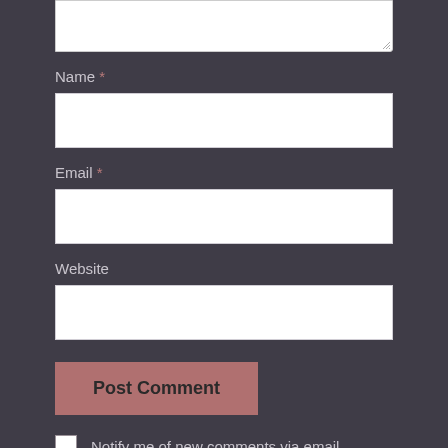[Figure (screenshot): Partial textarea input field at top of page, white background with resize handle in bottom-right corner]
Name *
[Figure (screenshot): White input box for Name field]
Email *
[Figure (screenshot): White input box for Email field]
Website
[Figure (screenshot): White input box for Website field]
Post Comment
Notify me of new comments via email.
Notify me of new posts via email.